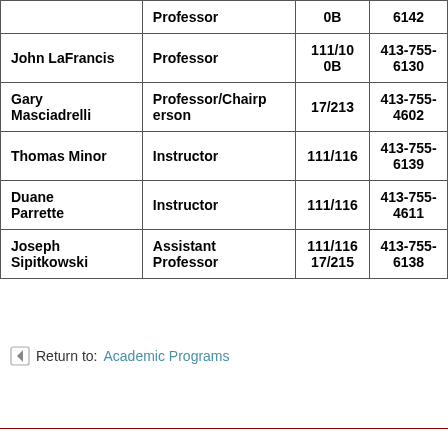| Name | Title | Room | Phone |
| --- | --- | --- | --- |
|  | Professor | 0B | 6142 |
| John LaFrancis | Professor | 111/100B | 413-755-6130 |
| Gary Masciadrelli | Professor/Chairperson | 17/213 | 413-755-4602 |
| Thomas Minor | Instructor | 111/116 | 413-755-6139 |
| Duane Parrette | Instructor | 111/116 | 413-755-4611 |
| Joseph Sipitkowski | Assistant Professor | 111/116 17/215 | 413-755-6138 |
Return to: Academic Programs